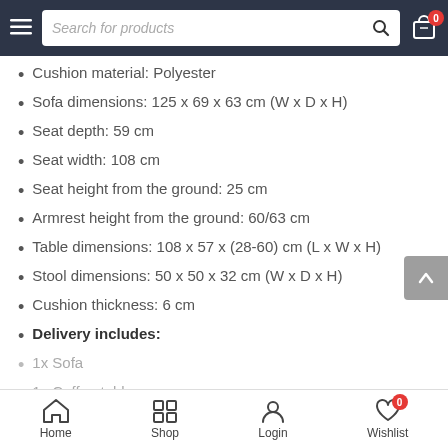Search for products
Cushion material: Polyester
Sofa dimensions: 125 x 69 x 63 cm (W x D x H)
Seat depth: 59 cm
Seat width: 108 cm
Seat height from the ground: 25 cm
Armrest height from the ground: 60/63 cm
Table dimensions: 108 x 57 x (28-60) cm (L x W x H)
Stool dimensions: 50 x 50 x 32 cm (W x D x H)
Cushion thickness: 6 cm
Delivery includes:
1x Sofa
1x Coffee table
Home  Shop  Login  Wishlist